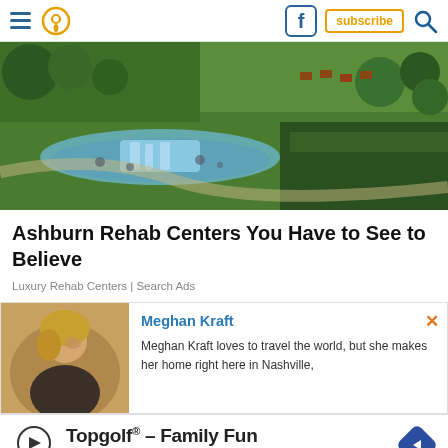Navigation bar with hamburger menu, location icon, Facebook button, subscribe button, search icon
[Figure (photo): Aerial view of a luxury resort or park with green lawns, a pond with a waterfall, trees, outdoor furniture, and pathways]
Ashburn Rehab Centers You Have to See to Believe
Luxury Rehab Centers | Search Ads
Meghan Kraft
Meghan Kraft loves to travel the world, but she makes her home right here in Nashville,
[Figure (other): Topgolf advertisement with logo showing Topgolf® - Family Fun and Topgolf text with navigation arrow icon]